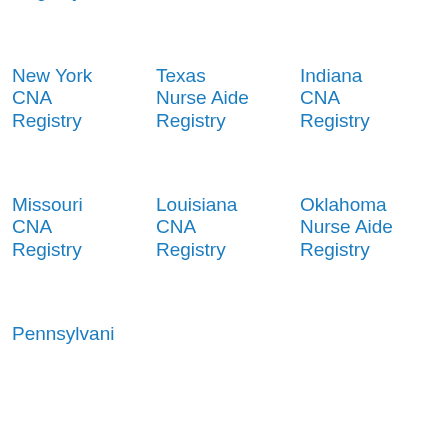Nurse Aide Registry
Registry
Registry
New York CNA Registry
Texas Nurse Aide Registry
Indiana CNA Registry
Missouri CNA Registry
Louisiana CNA Registry
Oklahoma Nurse Aide Registry
Pennsylvani